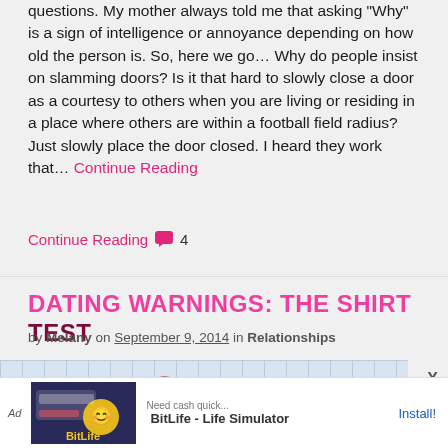questions. My mother always told me that asking “Why” is a sign of intelligence or annoyance depending on how old the person is. So, here we go… Why do people insist on slamming doors? Is it that hard to slowly close a door as a courtesy to others when you are living or residing in a place where others are within a football field radius? Just slowly place the door closed. I heard they work that… Continue Reading
Continue Reading 4
DATING WARNINGS: THE SHIRT TEST
by Melany on September 9, 2014 in Relationships
[Figure (illustration): Blog article image for 'Dating Warnings: The Shirt Test' showing large red bold text on a light blue grid background reading 'DATING WARNINGS SHIRT TEST ...' with a close X button]
[Figure (screenshot): Advertisement banner for BitLife - Life Simulator app with 'Ad' label, game screenshot, and Install button]